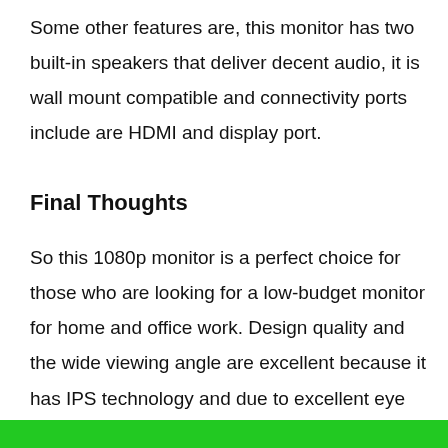Some other features are, this monitor has two built-in speakers that deliver decent audio, it is wall mount compatible and connectivity ports include are HDMI and display port.
Final Thoughts
So this 1080p monitor is a perfect choice for those who are looking for a low-budget monitor for home and office work. Design quality and the wide viewing angle are excellent because it has IPS technology and due to excellent eye care technology, you can comfortably do your work.